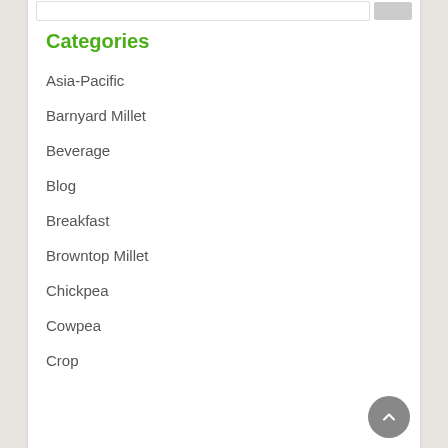Categories
Asia-Pacific
Barnyard Millet
Beverage
Blog
Breakfast
Browntop Millet
Chickpea
Cowpea
Crop